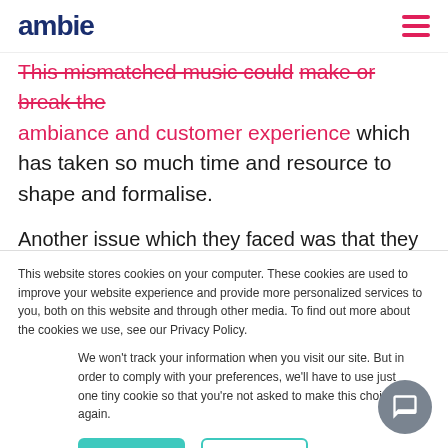ambie [logo] [hamburger menu]
This mismatched music could make or break the ambiance and customer experience which has taken so much time and resource to shape and formalise.
Another issue which they faced was that they
This website stores cookies on your computer. These cookies are used to improve your website experience and provide more personalized services to you, both on this website and through other media. To find out more about the cookies we use, see our Privacy Policy.
We won't track your information when you visit our site. But in order to comply with your preferences, we'll have to use just one tiny cookie so that you're not asked to make this choice again.
Accept | Decline